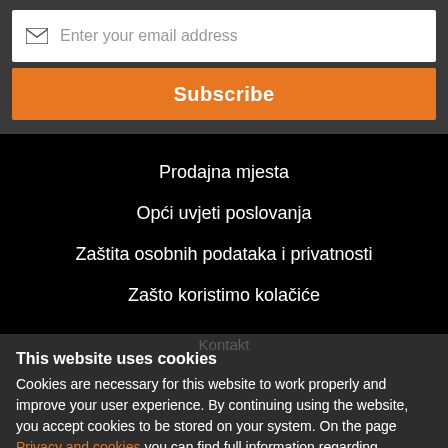Enter your email address
Subscribe
Prodajna mjesta
Opći uvjeti poslovanja
Zaštita osobnih podataka i privatnosti
Zašto koristimo kolačiće
This website uses cookies
Cookies are necessary for this website to work properly and improve your user experience. By continuing using the website, you accept cookies to be stored on your system. On the page Privacy and cookies you can find full information regarding cookies, and controls to disable optional cookies.
Close